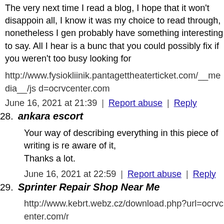The very next time I read a blog, I hope that it won't disappoint all, I know it was my choice to read through, nonetheless I gen probably have something interesting to say. All I hear is a bund that you could possibly fix if you weren't too busy looking for
http://www.fysiokliinik.pantagettheaterticket.com/__media__/j d=ocrvcenter.com
June 16, 2021 at 21:39 | Report abuse | Reply
28. ankara escort
Your way of describing everything in this piece of writing is re aware of it,
Thanks a lot.
June 16, 2021 at 22:59 | Report abuse | Reply
29. Sprinter Repair Shop Near Me
http://www.kebrt.webz.cz/download.php?url=ocrvcenter.com/r
June 16, 2021 at 23:31 | Report abuse | Reply
30. RV Repair Near My Location
https://www.emex.ru/error?url=http://ocrvcenter.com/rv-repair
June 17, 2021 at 01:30 | Report abuse | Reply